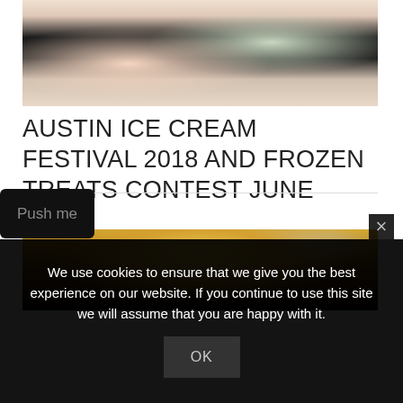[Figure (photo): Two women holding ice cream cones, one wearing a black top, candid outdoor photo]
AUSTIN ICE CREAM FESTIVAL 2018 AND FROZEN TREATS CONTEST JUNE 23RD
[Figure (photo): Impressionist painting of a house with bare autumn trees, warm orange and brown tones]
We use cookies to ensure that we give you the best experience on our website. If you continue to use this site we will assume that you are happy with it.
OK